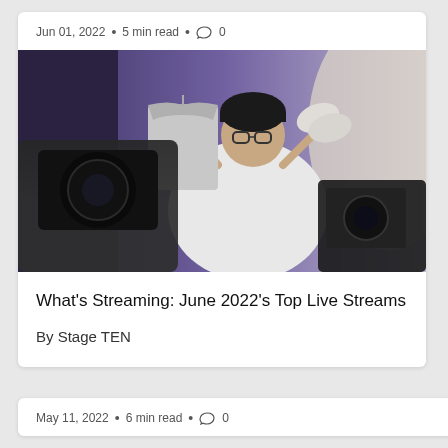Jun 01, 2022 • 5 min read • 0
[Figure (photo): A man wearing a black beanie and glasses, holding up a grey t-shirt on a hanger in one hand and a pair of white sneakers in the other, being filmed by cameras in a studio setting with a purple/blue background.]
What's Streaming: June 2022's Top Live Streams
By Stage TEN
May 11, 2022 • 6 min read • 0